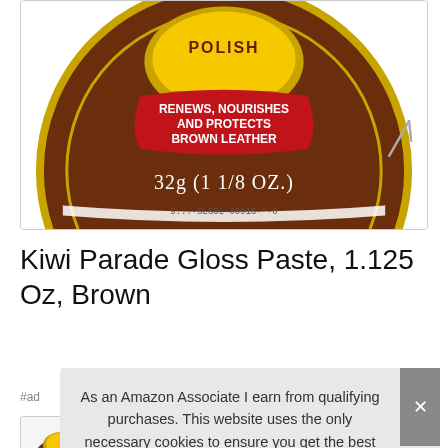[Figure (photo): Close-up top view of a round brown tin of Kiwi Parade shoe polish. The tin label reads 'POLISH' at top, with a red banner saying 'RENEWS, NOURISHES AND PROTECTS BROWN LEATHER', and weight '32g (1 1/8 OZ.)' printed below. The bottom edge shows partial text.]
Kiwi Parade Gloss Paste, 1.125 Oz, Brown
#ad
As an Amazon Associate I earn from qualifying purchases. This website uses the only necessary cookies to ensure you get the best experience on our website. More information
[Figure (photo): Partial product thumbnail images at bottom of page showing Kiwi shoe polish tins.]